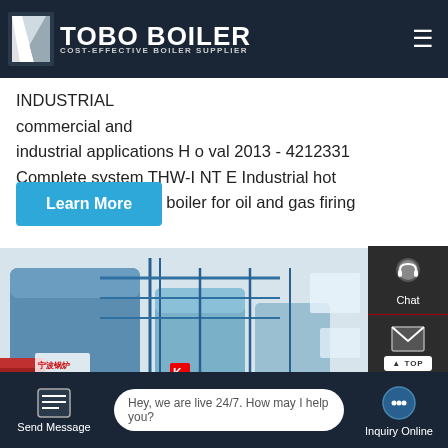TOBO BOILER — COST-EFFECTIVE BOILER SUPPLIER
produced by a chain grate boiler is used to dry INDUSTRIAL commercial and industrial applications H o val 2013 - 4212331 Complete system THW-I NT E Industrial hot water boiler for oil and gas firing
Learn More
[Figure (photo): Industrial boiler equipment photo showing large cylindrical blue boiler tanks with pipe scaffolding in a factory setting. WhatsApp contact bubble and 'Contact us now!' button overlaid.]
Chat
Email
Contact
Hey, we are live 24/7. How may I help you?
Send Message
Inquiry Online